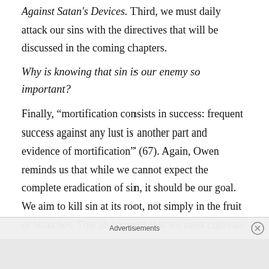Against Satan's Devices. Third, we must daily attack our sins with the directives that will be discussed in the coming chapters.
Why is knowing that sin is our enemy so important?
Finally, “mortification consists in success: frequent success against any lust is another part and evidence of mortification” (67). Again, Owen reminds us that while we cannot expect the complete eradication of sin, it should be our goal. We aim to kill sin at its root, not simply in the fruit or branches. This also means that we must cultivate
Advertisements